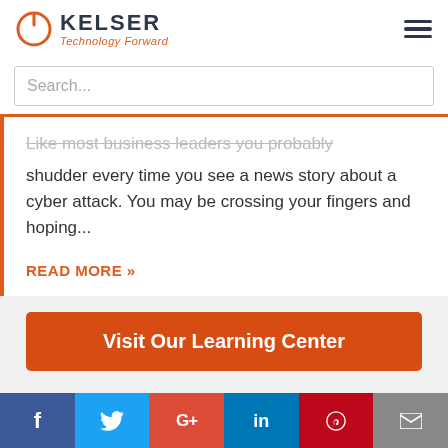KELSER Technology Forward
Search...
Like most business leaders you probably shudder every time you see a news story about a cyber attack. You may be crossing your fingers and hoping...
READ MORE »
Visit Our Learning Center
f  Twitter  G+  in  Pinterest  Email